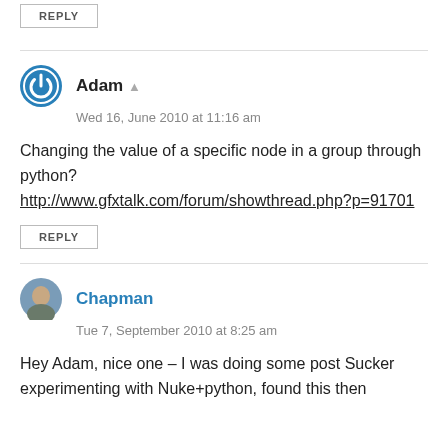REPLY
Adam
Wed 16, June 2010 at 11:16 am
Changing the value of a specific node in a group through python? http://www.gfxtalk.com/forum/showthread.php?p=91701
REPLY
Chapman
Tue 7, September 2010 at 8:25 am
Hey Adam, nice one – I was doing some post Sucker experimenting with Nuke+python, found this then